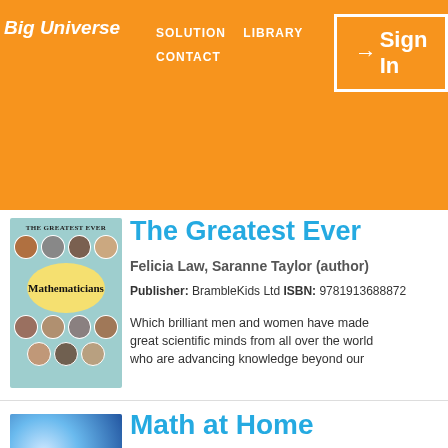Big Universe — SOLUTION | LIBRARY | CONTACT | Sign In
The Greatest Ever
Felicia Law, Saranne Taylor (author)
Publisher: BrambleKids Ltd ISBN: 9781913688872
Which brilliant men and women have made great scientific minds from all over the world who are advancing knowledge beyond our
[Figure (illustration): Book cover for 'The Greatest Ever Mathematicians' showing circular portrait photos of famous mathematicians on a teal background with a yellow oval containing the book title in script font]
Math at Home
Saranne Taylor (author)
[Figure (illustration): Book cover for 'Math at Home' showing blue swirling design with polka dot background and the title in bold blue text]